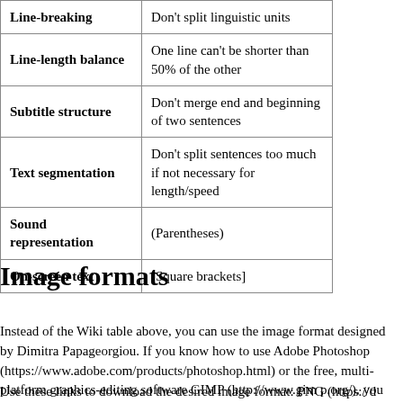|  |  |
| --- | --- |
| Line-breaking | Don't split linguistic units |
| Line-length balance | One line can't be shorter than 50% of the other |
| Subtitle structure | Don't merge end and beginning of two sentences |
| Text segmentation | Don't split sentences too much if not necessary for length/speed |
| Sound representation | (Parentheses) |
| On-screen text | [Square brackets] |
Image formats
Instead of the Wiki table above, you can use the image format designed by Dimitra Papageorgiou. If you know how to use Adobe Photoshop (https://www.adobe.com/products/photoshop.html) or the free, multi-platform graphics-editing software GIMP (http://www.gimp.org/), you can easily adapt this image format for your language (the text layers are editable in the PSD and XCF files).
Use these links to download the desired image format: PNG (https://drive.google.com/file/d/0B-vmUFFtXfLFY0lOSlBPOzBrTzg/view?us